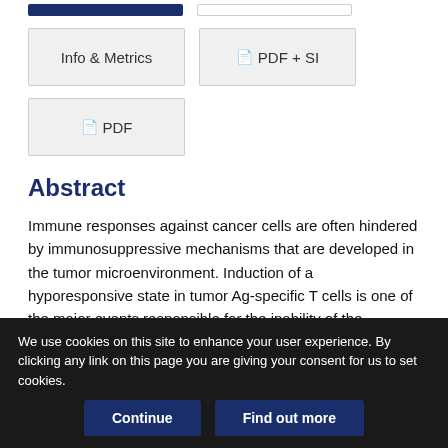[Figure (screenshot): Partial top blue button and outline button row cropped at top of page]
[Figure (screenshot): Info & Metrics button and PDF + SI button row]
[Figure (screenshot): PDF button]
Abstract
Immune responses against cancer cells are often hindered by immunosuppressive mechanisms that are developed in the tumor microenvironment. Induction of a hyporesponsive state in tumor Ag-specific T cells is one of the major events responsible for the inability of the adaptive immune system to mount an efficient
We use cookies on this site to enhance your user experience. By clicking any link on this page you are giving your consent for us to set cookies.
[Figure (screenshot): Continue and Find out more cookie consent buttons]